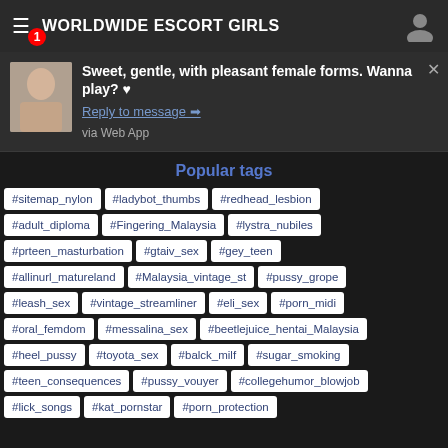WORLDWIDE ESCORT GIRLS
Sweet, gentle, with pleasant female forms. Wanna play? ♥
Reply to message →
via Web App
Popular tags
#sitemap_nylon #ladybot_thumbs #redhead_lesbion
#adult_diploma #Fingering_Malaysia #lystra_nubiles
#prteen_masturbation #gtaiv_sex #gey_teen
#allinurl_matureland #Malaysia_vintage_st #pussy_grope
#leash_sex #vintage_streamliner #eli_sex #porn_midi
#oral_femdom #messalina_sex #beetlejuice_hentai_Malaysia
#heel_pussy #toyota_sex #balck_milf #sugar_smoking
#teen_consequences #pussy_vouyer #collegehumor_blowjob
#lick_songs #kat_pornstar #porn_protection